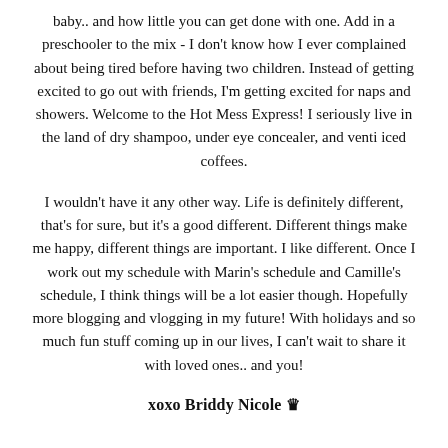baby.. and how little you can get done with one. Add in a preschooler to the mix - I don't know how I ever complained about being tired before having two children. Instead of getting excited to go out with friends, I'm getting excited for naps and showers. Welcome to the Hot Mess Express! I seriously live in the land of dry shampoo, under eye concealer, and venti iced coffees.
I wouldn't have it any other way. Life is definitely different, that's for sure, but it's a good different. Different things make me happy, different things are important. I like different. Once I work out my schedule with Marin's schedule and Camille's schedule, I think things will be a lot easier though. Hopefully more blogging and vlogging in my future! With holidays and so much fun stuff coming up in our lives, I can't wait to share it with loved ones.. and you!
xoxo Briddy Nicole 👑